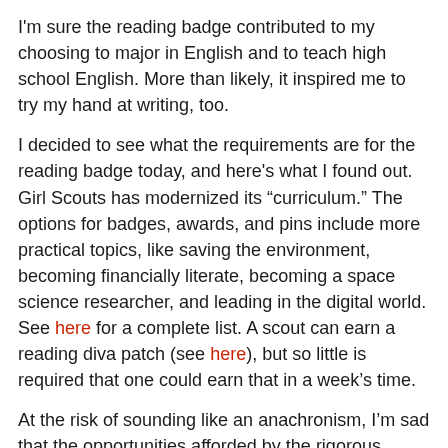I'm sure the reading badge contributed to my choosing to major in English and to teach high school English. More than likely, it inspired me to try my hand at writing, too.
I decided to see what the requirements are for the reading badge today, and here's what I found out. Girl Scouts has modernized its “curriculum.” The options for badges, awards, and pins include more practical topics, like saving the environment, becoming financially literate, becoming a space science researcher, and leading in the digital world. See here for a complete list. A scout can earn a reading diva patch (see here), but so little is required that one could earn that in a week’s time.
At the risk of sounding like an anachronism, I’m sad that the opportunities afforded by the rigorous reading badge no longer exist for young girls. At the same time, I’m extremely grateful that I earned mine when I could.
Were you a big reader when you were younger? What were some of your most memorable books read?